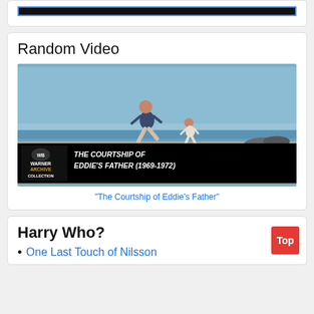[Figure (screenshot): Top black bar with blue border, partially visible at top of page]
Random Video
[Figure (screenshot): Video thumbnail showing two people running on a beach with Warner Archive Collection overlay and text THE COURTSHIP OF EDDIE'S FATHER (1969-1972)]
"The Courtship of Eddie's Father"
Harry Who?
One Last Touch of Nilsson